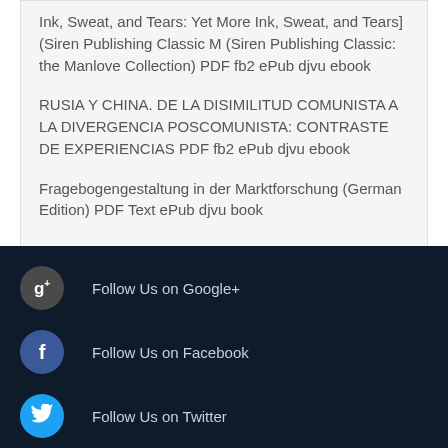Ink, Sweat, and Tears: Yet More Ink, Sweat, and Tears] (Siren Publishing Classic M (Siren Publishing Classic: the Manlove Collection) PDF fb2 ePub djvu ebook
RUSIA Y CHINA. DE LA DISIMILITUD COMUNISTA A LA DIVERGENCIA POSCOMUNISTA: CONTRASTE DE EXPERIENCIAS PDF fb2 ePub djvu ebook
Fragebogengestaltung in der Marktforschung (German Edition) PDF Text ePub djvu book
[Figure (infographic): Social media follow buttons: Google+, Facebook, Twitter icons with text labels on dark navy background]
Follow Us on Google+
Follow Us on Facebook
Follow Us on Twitter